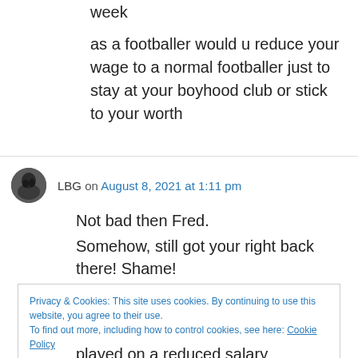week
as a footballer would u reduce your wage to a normal footballer just to stay at your boyhood club or stick to your worth
LBG on August 8, 2021 at 1:11 pm
Not bad then Fred.
Somehow, still got your right back there! Shame!
Privacy & Cookies: This site uses cookies. By continuing to use this website, you agree to their use.
To find out more, including how to control cookies, see here: Cookie Policy
Close and accept
played on a reduced salary